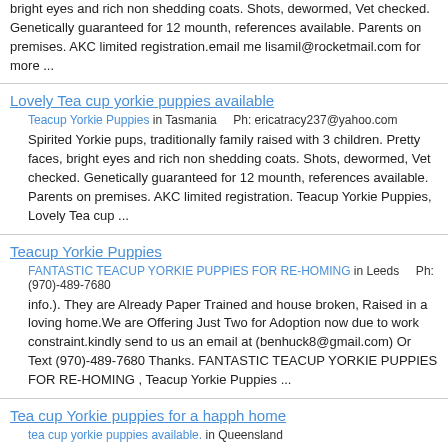bright eyes and rich non shedding coats. Shots, dewormed, Vet checked. Genetically guaranteed for 12 mounth, references available. Parents on premises. AKC limited registration.email me lisamil@rocketmail.com for more ...
Lovely Tea cup yorkie puppies available
Teacup Yorkie Puppies in Tasmania    Ph: ericatracy237@yahoo.com
Spirited Yorkie pups, traditionally family raised with 3 children. Pretty faces, bright eyes and rich non shedding coats. Shots, dewormed, Vet checked. Genetically guaranteed for 12 mounth, references available. Parents on premises. AKC limited registration. Teacup Yorkie Puppies, Lovely Tea cup ...
Teacup Yorkie Puppies
FANTASTIC TEACUP YORKIE PUPPIES FOR RE-HOMING in Leeds    Ph: (970)-489-7680
info.). They are Already Paper Trained and house broken, Raised in a loving home.We are Offering Just Two for Adoption now due to work constraint.kindly send to us an email at (benhuck8@gmail.com) Or Text (970)-489-7680 Thanks. FANTASTIC TEACUP YORKIE PUPPIES FOR RE-HOMING , Teacup Yorkie Puppies ...
Tea cup Yorkie puppies for a happh home
tea cup yorkie puppies available. in Queensland
Spirited Yorkie pups, traditionally family raised with 3 children. Pretty faces,